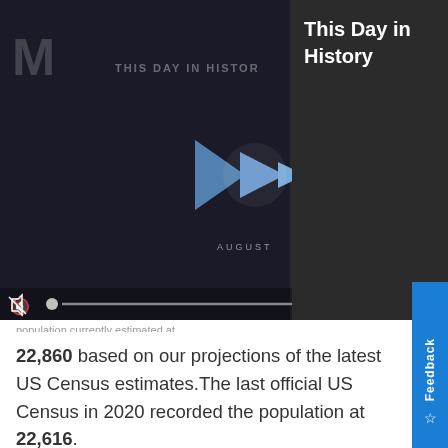[Figure (screenshot): Video player showing 'This Day in History' with play button, mute icon, progress bar and fullscreen button on dark background]
This Day in History
22,860 based on our projections of the latest US Census estimates. The last official US Census in 2020 recorded the population at 22,616.
Green Valley Population by Race
Show Source